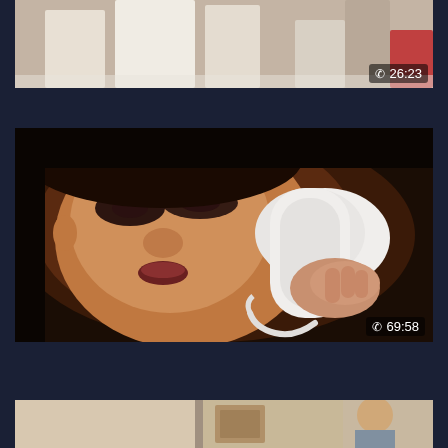[Figure (screenshot): Top partial video thumbnail showing people in light-colored clothing, duration 26:23]
Slave auction
[Figure (screenshot): Video thumbnail of a woman with heavy eye makeup holding a white telephone receiver to her face, duration 69:58]
Gator 270
[Figure (screenshot): Bottom partial video thumbnail showing a scene with figures]